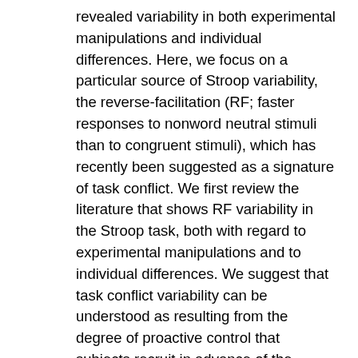revealed variability in both experimental manipulations and individual differences. Here, we focus on a particular source of Stroop variability, the reverse-facilitation (RF; faster responses to nonword neutral stimuli than to congruent stimuli), which has recently been suggested as a signature of task conflict. We first review the literature that shows RF variability in the Stroop task, both with regard to experimental manipulations and to individual differences. We suggest that task conflict variability can be understood as resulting from the degree of proactive control that subjects recruit in advance of the Stroop stimulus. When the proactive control is high, task conflict does not arise (or is resolved very quickly), resulting in regular Stroop facilitation. When proactive control is low, task conflict emerges, leading to a slow-down in congruent and incongruent (but not in neutral) trials and then to Stroop RF. To connect this…